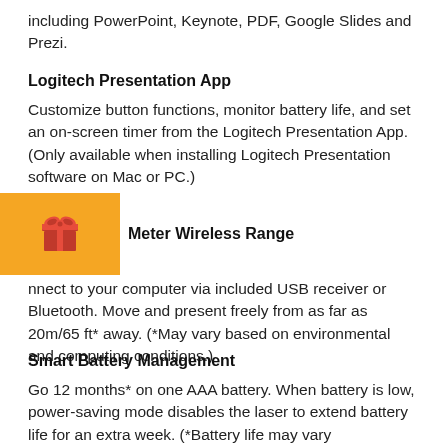including PowerPoint, Keynote, PDF, Google Slides and Prezi.
Logitech Presentation App
Customize button functions, monitor battery life, and set an on-screen timer from the Logitech Presentation App. (Only available when installing Logitech Presentation software on Mac or PC.)
Meter Wireless Range
nnect to your computer via included USB receiver or Bluetooth. Move and present freely from as far as 20m/65 ft* away. (*May vary based on environmental and computing conditions.)
Smart Battery Management
Go 12 months* on one AAA battery. When battery is low, power-saving mode disables the laser to extend battery life for an extra week. (*Battery life may vary based on usage and computing conditions.)